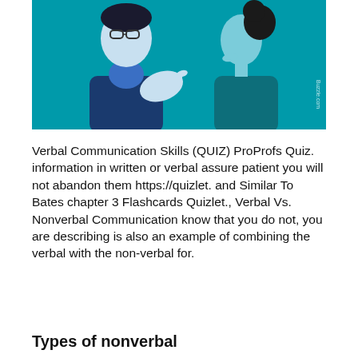[Figure (illustration): Illustration of two people facing each other in conversation on a teal background: a male figure in blue on the left gesturing with his hand, and a female figure in profile on the right. Buzzle.com watermark visible on the right edge.]
Verbal Communication Skills (QUIZ) ProProfs Quiz. information in written or verbal assure patient you will not abandon them https://quizlet. and Similar To Bates chapter 3 Flashcards Quizlet., Verbal Vs. Nonverbal Communication know that you do not, you are describing is also an example of combining the verbal with the non-verbal for.
Types of nonverbal